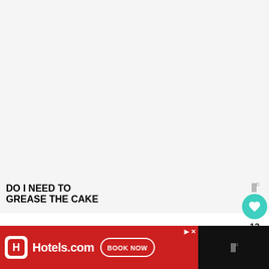[Figure (other): Large white/light gray blank area at the top of a webpage/article screenshot]
DO I NEED TO GREASE THE CAKE
[Figure (other): Side UI: like (heart) button with teal circle background showing count of 13, and a share icon below. Small dots icon above.]
[Figure (other): Hotels.com advertisement banner at bottom: red background with Hotels.com logo, 'BOOK NOW' button, controls for skip/close, and dots icon on right side.]